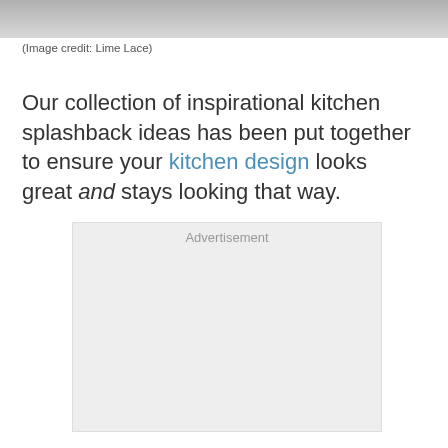[Figure (photo): Partial view of a kitchen image, cropped at top of page]
(Image credit: Lime Lace)
Our collection of inspirational kitchen splashback ideas has been put together to ensure your kitchen design looks great and stays looking that way.
[Figure (other): Advertisement placeholder box]